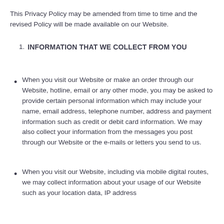This Privacy Policy may be amended from time to time and the revised Policy will be made available on our Website.
1. INFORMATION THAT WE COLLECT FROM YOU
When you visit our Website or make an order through our Website, hotline, email or any other mode, you may be asked to provide certain personal information which may include your name, email address, telephone number, address and payment information such as credit or debit card information. We may also collect your information from the messages you post through our Website or the e-mails or letters you send to us.
When you visit our Website, including via mobile digital routes, we may collect information about your usage of our Website such as your location data, IP address...